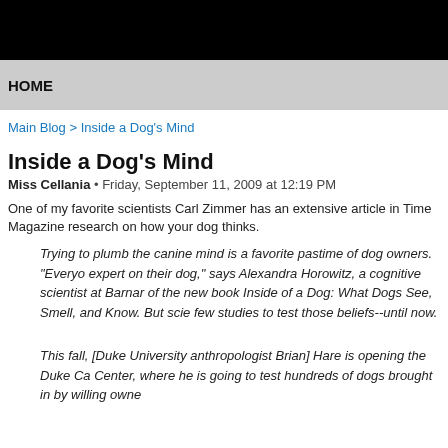HOME
Main Blog > Inside a Dog's Mind
Inside a Dog's Mind
Miss Cellania • Friday, September 11, 2009 at 12:19 PM
One of my favorite scientists Carl Zimmer has an extensive article in Time Magazine research on how your dog thinks.
Trying to plumb the canine mind is a favorite pastime of dog owners. "Everyone expert on their dog," says Alexandra Horowitz, a cognitive scientist at Barnard of the new book Inside of a Dog: What Dogs See, Smell, and Know. But scien few studies to test those beliefs--until now.
This fall, [Duke University anthropologist Brian] Hare is opening the Duke Ca Center, where he is going to test hundreds of dogs brought in by willing owne